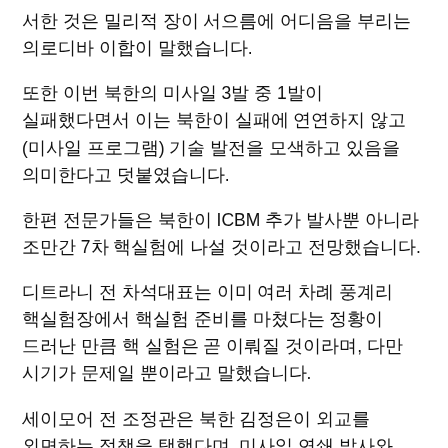서한 것은 밀리적 장이 서으름에 어디음을 부리는 의로디바 이합이 말했습니다.
또한 이번 북한의 미사일 3발 중 1발이 실패했다면서 이는 북한이 실패에 연연하지 않고 (미사일 프로그램) 기술 발전을 모색하고 있음을 의미한다고 덧붙였습니다.
한편 전문가들은 북한이 ICBM 추가 발사뿐 아니라 조만간 7차 핵실험에 나설 것이라고 전망했습니다.
디트라니 전 차석대표는 이미 여러 차례 풍계리 핵실험장에서 핵실험 준비를 마쳤다는 정황이 드러난 만큼 핵 실험은 곧 이뤄질 것이라며, 다만 시기가 문제일 뿐이라고 말했습니다.
세이모어 전 조정관은 북한 김정은이 외교를 외면하는 정책을 택했다며, 미사일 연쇄 발사와 함께 핵실험을 하지 않을 이유를 찾기는 어렵다고 말했습니다.